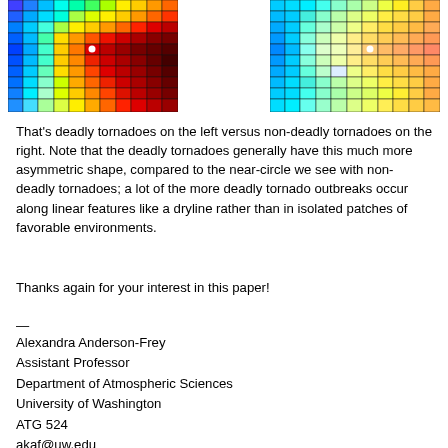[Figure (other): Two side-by-side heatmap grids showing tornado spatial patterns. Left grid shows deadly tornadoes with an asymmetric hot-spot (red/yellow center, blue periphery). Right grid shows non-deadly tornadoes with a more circular, near-symmetric warm pattern.]
That's deadly tornadoes on the left versus non-deadly tornadoes on the right. Note that the deadly tornadoes generally have this much more asymmetric shape, compared to the near-circle we see with non-deadly tornadoes; a lot of the more deadly tornado outbreaks occur along linear features like a dryline rather than in isolated patches of favorable environments.
Thanks again for your interest in this paper!
—
Alexandra Anderson-Frey
Assistant Professor
Department of Atmospheric Sciences
University of Washington
ATG 524
akaf@uw.edu